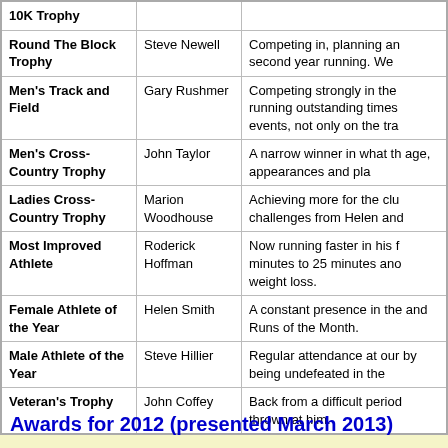| Award | Winner | Reason |
| --- | --- | --- |
| 10K Trophy |  |  |
| Round The Block Trophy | Steve Newell | Competing in, planning an second year running.  We |
| Men's Track and Field | Gary Rushmer | Competing strongly in the running outstanding times events, not only on the tra |
| Men's Cross-Country Trophy | John Taylor | A narrow winner in what th age, appearances and pla |
| Ladies Cross-Country Trophy | Marion Woodhouse | Achieving more for the clu challenges from Helen and |
| Most Improved Athlete | Roderick Hoffman | Now running faster in his f minutes to 25 minutes ano weight loss. |
| Female Athlete of the Year | Helen Smith | A constant presence in the and Runs of the Month. |
| Male Athlete of the Year | Steve Hillier | Regular attendance at our by being undefeated in the |
| Veteran's Trophy | John Coffey | Back from a difficult period thrown at him. |
Awards for 2012 (presented March 2013)